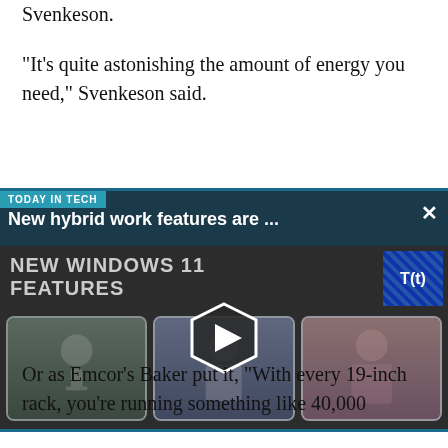Svenkeson.
"It's quite astonishing the amount of energy you need," Svenkeson said.
[Figure (screenshot): A video player thumbnail labeled 'TODAY IN TECH' showing 'New hybrid work features are ...' overlaid on a 'NEW WINDOWS 11 FEATURES' video with three people visible in thumbnail frames and a play button in the center. A T(t) logo appears in the top right corner.]
Or as Emcor's Baker put it, "With every 19-inch rack, you're running something like 40,000